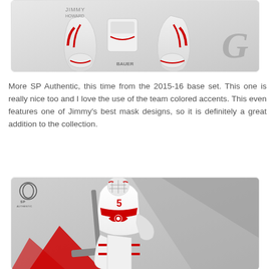[Figure (photo): Top portion of a hockey trading card showing goalie pads and equipment with red and white coloring, Bauer brand, with a decorative G logo in the corner. SP Authentic branding visible.]
More SP Authentic, this time from the 2015-16 base set. This one is really nice too and I love the use of the team colored accents. This even features one of Jimmy's best mask designs, so it is definitely a great addition to the collection.
[Figure (photo): Bottom portion of an SP Authentic hockey trading card showing a Detroit Red Wings goalie (Jimmy Howard, #35) in white jersey with red accents, holding a goalie stick, wearing a decorated mask, with geometric red/grey background design and SP Authentic logo in upper left.]